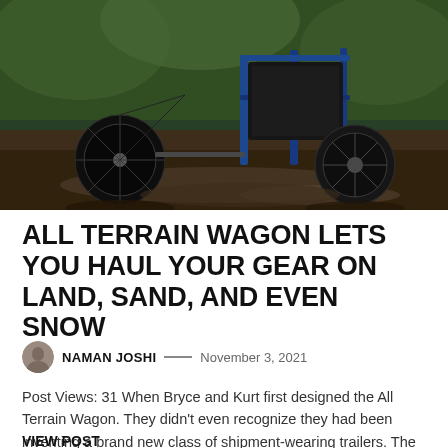[Figure (photo): A bicycle towing a rugged all-terrain cargo wagon/trailer through muddy off-road terrain. The trailer has large knobby tires and a black cargo bag. The scene is set in a forested, muddy environment.]
ALL TERRAIN WAGON LETS YOU HAUL YOUR GEAR ON LAND, SAND, AND EVEN SNOW
NAMAN JOSHI — November 3, 2021
Post Views: 31 When Bryce and Kurt first designed the All Terrain Wagon. They didn't even recognize they had been inventing a brand new class of shipment-wearing trailers. The tale…
VIEW POST